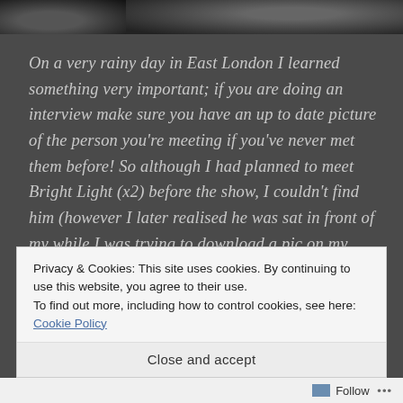[Figure (photo): Black and white photo strip showing partial figures, dark background]
On a very rainy day in East London I learned something very important; if you are doing an interview make sure you have an up to date picture of the person you're meeting if you've never met them before!  So although I had planned to meet Bright Light (x2) before the show, I couldn't find him (however I later realised he was sat in front of my while I was trying to download a pic on my  phone!!! – I don't have an iPhone or Blackberry…).  After a very short and very sweet set, I managed
Privacy & Cookies: This site uses cookies. By continuing to use this website, you agree to their use.
To find out more, including how to control cookies, see here: Cookie Policy
Close and accept
Follow